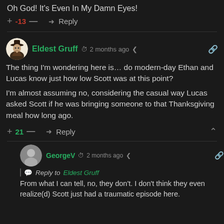Oh God! It's Even In My Damn Eyes!
+ -13 — → Reply
Eldest Gruff  2 months ago
The thing I'm wondering here is… do modern-day Ethan and Lucas know just how low Scott was at this point?

I'm almost assuming no, considering the casual way Lucas asked Scott if he was bringing someone to that Thanksgiving meal how long ago.
+ 21 — → Reply
GeorgeV  2 months ago
Reply to Eldest Gruff
From what I can tell, no, they don't. I don't think they even realize(d) Scott just had a traumatic episode here.